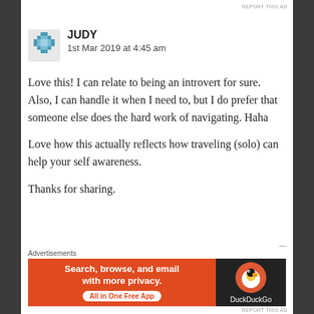REPORT THIS AD
JUDY
1st Mar 2019 at 4:45 am
Love this! I can relate to being an introvert for sure. Also, I can handle it when I need to, but I do prefer that someone else does the hard work of navigating. Haha
Love how this actually reflects how traveling (solo) can help your self awareness.
Thanks for sharing.
[Figure (infographic): DuckDuckGo advertisement banner: orange left panel with text 'Search, browse, and email with more privacy. All in One Free App' and dark right panel with DuckDuckGo duck logo and brand name.]
Advertisements
REPORT THIS AD